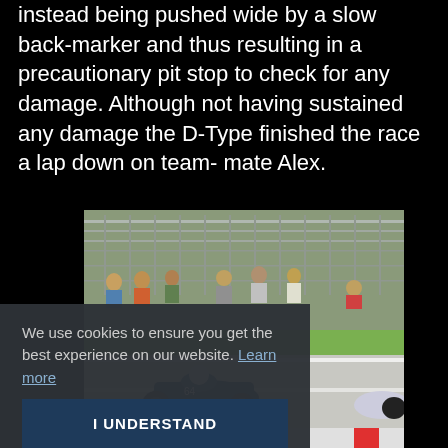instead being pushed wide by a slow back-marker and thus resulting in a precautionary pit stop to check for any damage. Although not having sustained any damage the D-Type finished the race a lap down on team- mate Alex.
[Figure (photo): A vintage racing car (dark blue/teal open-wheel car) on a circuit with spectators and metal fencing in the background. Sunny day, another car visible at the right edge.]
We use cookies to ensure you get the best experience on our website. Learn more
I UNDERSTAND